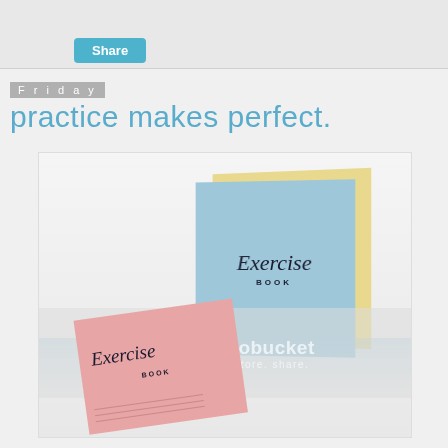[Figure (screenshot): Share button in teal/blue at top of page]
Friday
practice makes perfect.
[Figure (photo): Two exercise books - one blue standing upright and one pink lying flat, with Photobucket watermark overlay. Both books show 'Exercise BOOK' text in script font.]